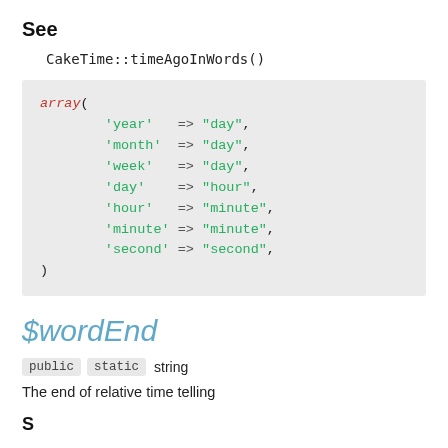See
CakeTime::timeAgoInWords()
$wordEnd
public static string
The end of relative time telling
See